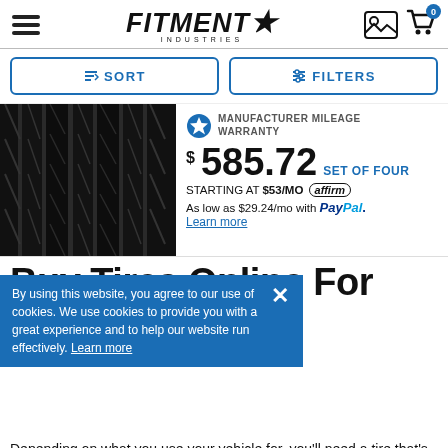Fitment Industries
[Figure (screenshot): Sort and Filter buttons row]
[Figure (photo): Close-up photo of tire tread pattern, black and white]
MANUFACTURER MILEAGE WARRANTY
$585.72 SET OF FOUR
STARTING AT $53/MO affirm
As low as $29.24/mo with PayPal. Learn more
Buy Tires Online For Your Car At
By using this website, you agree to our use of cookies. We use cookies to provide you with a great experience and to help our website run effectively. Learn more
Depending on what you use your vehicle for, you'll need a tire that's able to suit your needs with no questions asked or sacrifices in performance or design. That's why our Fitment Industries team is so proud to be able to partner with some of the best aftermarket tire brands in the business, and off...